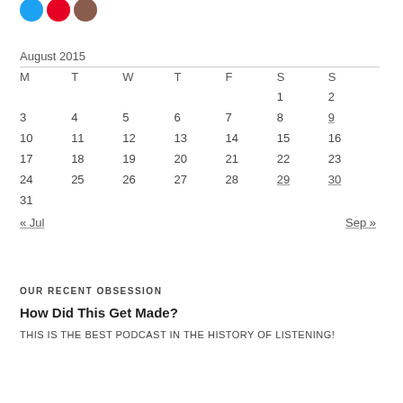[Figure (other): Social media icons: Twitter (blue circle), Pinterest (red circle), Instagram (brown circle)]
| M | T | W | T | F | S | S |
| --- | --- | --- | --- | --- | --- | --- |
|  |  |  |  |  | 1 | 2 |
| 3 | 4 | 5 | 6 | 7 | 8 | 9 |
| 10 | 11 | 12 | 13 | 14 | 15 | 16 |
| 17 | 18 | 19 | 20 | 21 | 22 | 23 |
| 24 | 25 | 26 | 27 | 28 | 29 | 30 |
| 31 |  |  |  |  |  |  |
« Jul    Sep »
OUR RECENT OBSESSION
How Did This Get Made?
THIS IS THE BEST PODCAST IN THE HISTORY OF LISTENING!